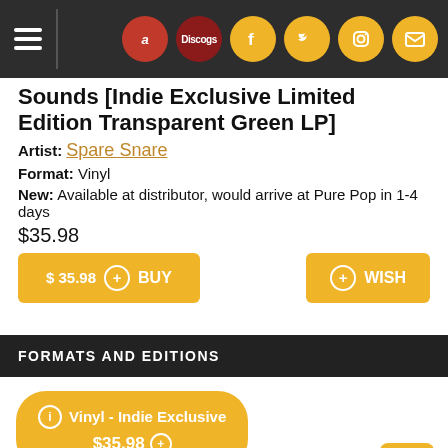Navigation bar with hamburger menu and social icons: Amazon, Discogs, Facebook, Twitter, Instagram, Mail
Sounds [Indie Exclusive Limited Edition Transparent Green LP]
Artist: Spare Snare
Format: Vinyl
New: Available at distributor, would arrive at Pure Pop in 1-4 days
$35.98
$ 35.98 + BUY   + WISH
FORMATS AND EDITIONS
Vinyl - Indie Exclusive $35.98
DISC: 1